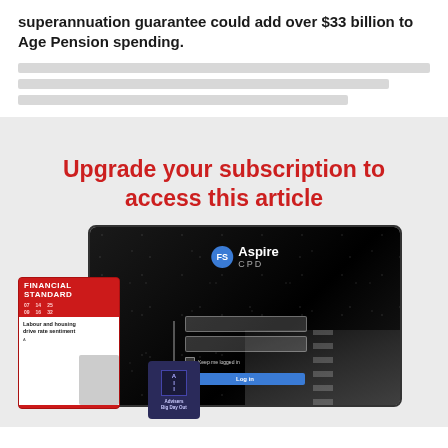superannuation guarantee could add over $33 billion to Age Pension spending.
[Figure (illustration): Paywall upgrade prompt with 'Upgrade your subscription to access this article' text in red, and a promotional image showing a Financial Standard magazine, an FS Aspire CPD tablet login screen with starry night background, and an Advisers Big Day Out conference badge with lanyard.]